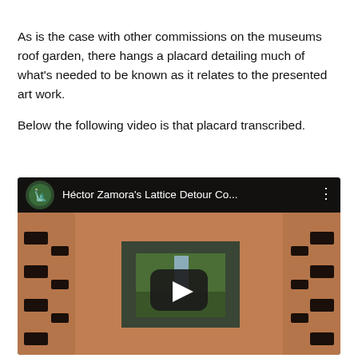As is the case with other commissions on the museums roof garden, there hangs a placard detailing much of what's needed to be known as it relates to the presented art work.

Below the following video is that placard transcribed.
[Figure (screenshot): YouTube video thumbnail showing 'Héctor Zamora's Lattice Detour Co...' with a play button overlaid on an image of a clay brick lattice structure with a view through it to greenery outside.]